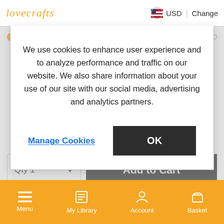lovecrafts   USD  Change
We use cookies to enhance user experience and to analyze performance and traffic on our website. We also share information about your use of our site with our social media, advertising and analytics partners.
Manage Cookies   OK
Only 5 left in stock!   MSRP $6.10
Qty 1   Add to Cart
Menu   My Library   Account   Basket